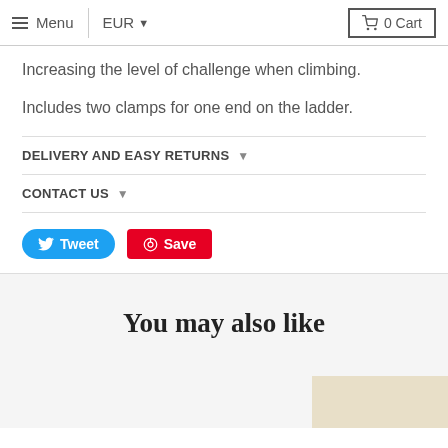Menu | EUR  0 Cart
Increasing the level of challenge when climbing.
Includes two clamps for one end on the ladder.
DELIVERY AND EASY RETURNS
CONTACT US
[Figure (other): Tweet and Save social sharing buttons]
You may also like